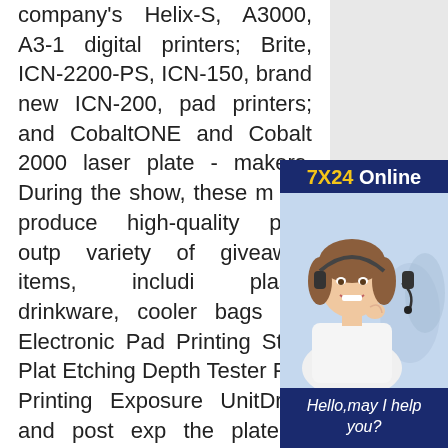company's Helix-S, A3000, A3-1 digital printers; Brite, ICN-2200-PS, ICN-150, brand new ICN-200, pad printers; and CobaltONE and Cobalt 2000 laser plate - makers. During the show, these machines will produce high-quality print output on a variety of giveaway items, including plastic drinkware, cooler bags Display Electronic Pad Printing Steel Plate Etching Depth Tester Pad Printing Exposure UnitDried and post exposure, the plate is ready for the press in less than thirty minutes. 1:Pad Printer(with ink cup) ONE Unit TECHNICAL PARAMETER Max printing area 80× 80mm Steel plate size 100× 100mm Max workpiece length 150mm Level stroke 100mm Pad vertical distance 60mm Printing speed 400pcs/hr Out dimension 400×300×500mm Machinepart Disp...
[Figure (photo): Customer service representative advertisement overlay showing a woman wearing a headset smiling, with dark blue background header reading '7X24 Online', italic text 'Hello,may I help you?' and a yellow button 'Get Latest Price']